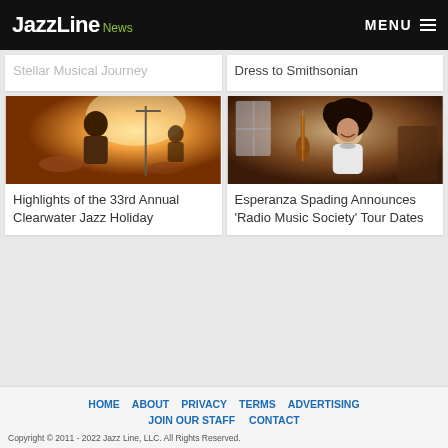JazzLine News | MENU
Stellar Musical Journey
Dress to Smithsonian
[Figure (photo): Jazz musician playing instrument on stage with warm orange/golden backlit lighting]
Highlights of the 33rd Annual Clearwater Jazz Holiday
[Figure (photo): Esperanza Spading holding a violin, wearing a fur hat and white jacket, smiling]
Esperanza Spading Announces ‘Radio Music Society’ Tour Dates
HOME   ABOUT   PRIVACY   TERMS   ADVERTISING   JOIN OUR STAFF   CONTACT
Copyright © 2011 - 2022 Jazz Line, LLC. All Rights Reserved.